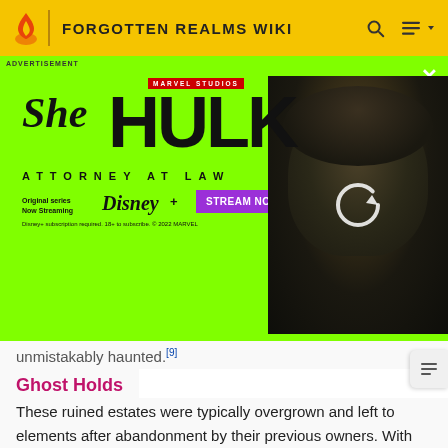FORGOTTEN REALMS WIKI
[Figure (screenshot): Advertisement for She-Hulk: Attorney at Law on Disney+. Green background with She-Hulk logo, text 'ATTORNEY AT LAW', 'Original series Now Streaming', Disney+ logo, purple 'STREAM NOW' button, disclaimer text, and a photo of a woman (She-Hulk character) on the right side with a reload/spinner icon overlay.]
unmistakably haunted.[9]
Ghost Holds
These ruined estates were typically overgrown and left to elements after abandonment by their previous owners. With the attention of most of the Battledalesmen focused on remaining vigilant against the Drow of Cormanthor, bandits could often hole up in the remains for days unnoticed.[5]